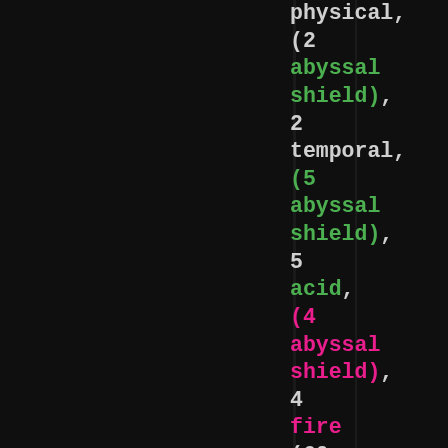physical, (2 abyssal shield), 2 temporal, (5 abyssal shield), 5 acid, (4 abyssal shield), 4 fire (60 total damage). Khpar the shalore hits